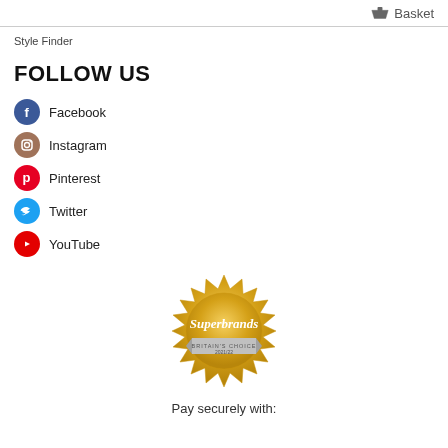Basket
Style Finder
FOLLOW US
Facebook
Instagram
Pinterest
Twitter
YouTube
[Figure (logo): Superbrands Britain's Choice 2021/22 gold seal badge]
Pay securely with: